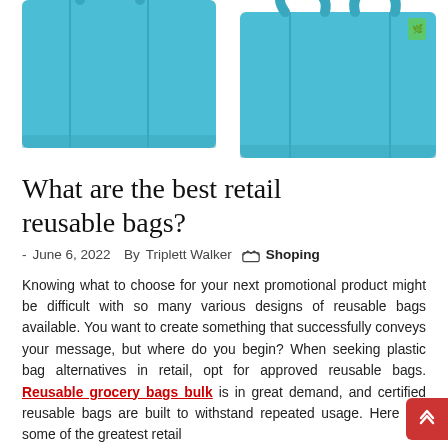[Figure (photo): Two light blue/teal reusable grocery tote bags shown side by side on a white background.]
What are the best retail reusable bags?
- June 6, 2022  By Triplett Walker  Shoping
Knowing what to choose for your next promotional product might be difficult with so many various designs of reusable bags available. You want to create something that successfully conveys your message, but where do you begin? When seeking plastic bag alternatives in retail, opt for approved reusable bags. Reusable grocery bags bulk is in great demand, and certified reusable bags are built to withstand repeated usage. Here are some of the greatest retail